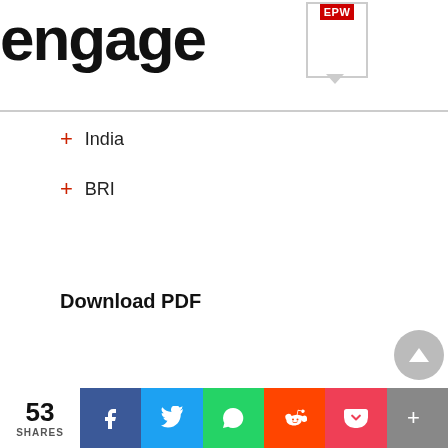engage EPW
India
BRI
Download PDF
53 SHARES